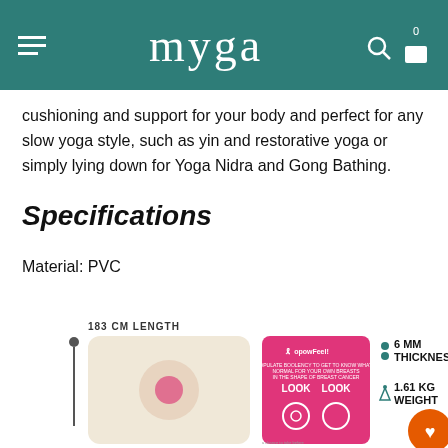myga
cushioning and support for your body and perfect for any slow yoga style, such as yin and restorative yoga or simply lying down for Yoga Nidra and Gong Bathing.
Specifications
Material: PVC
[Figure (infographic): Product infographic showing yoga mat dimensions: 183 CM LENGTH label with a vertical line and dot indicating length; a beige mat image with pink circle; a pink breast cancer awareness card with LOOK LOOK labels; side specs showing 6 MM THICKNESS and 1.61 KG WEIGHT]